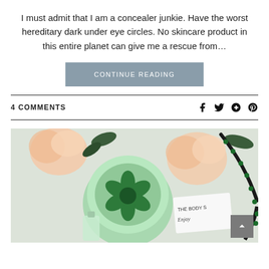I must admit that I am a concealer junkie. Have the worst hereditary dark under eye circles. No skincare product in this entire planet can give me a rescue from…
CONTINUE READING
4 COMMENTS
[Figure (photo): Flat lay photo showing The Body Shop products including a mint green body butter container with a green flower emblem, a small perfume bottle, pink roses, dark green foliage, a dark beaded necklace with green gems, and a white card reading 'THE BODY S... Enjoy']